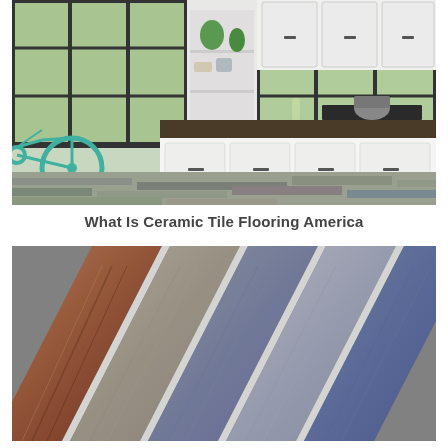[Figure (photo): A bright modern kitchen with white cabinetry, a large island with dark wood countertop, and grey stone-look tile flooring. A teal bicycle is visible through large industrial-style windows on the left.]
What Is Ceramic Tile Flooring America
[Figure (photo): A fan arrangement of ceramic tile samples in various colors and textures: warm brown/rust marble-look tile on the left, several shades of grey stone-look tiles in the middle and right, displayed in a herringbone/diagonal fan pattern.]